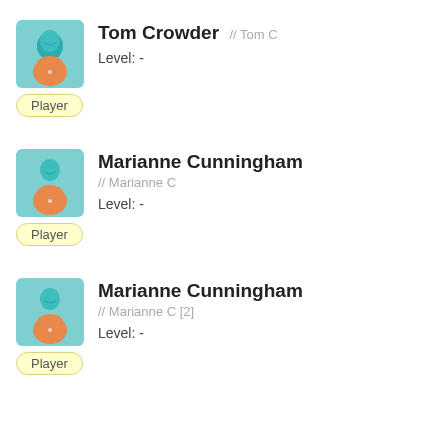[Figure (illustration): Avatar icon: teal silhouette person with orange shirt on light blue background]
Tom Crowder // Tom C
Level: -
Player
[Figure (illustration): Avatar icon: teal silhouette person with orange shirt on light blue background]
Marianne Cunningham // Marianne C
Level: -
Player
[Figure (illustration): Avatar icon: teal silhouette person with orange shirt on light blue background]
Marianne Cunningham // Marianne C [2]
Level: -
Player